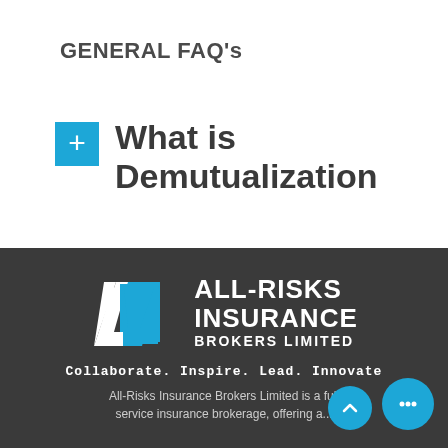GENERAL FAQ's
+ What is Demutualization
[Figure (logo): All-Risks Insurance Brokers Limited logo with geometric A shape in blue and white, and company name in bold white text]
Collaborate. Inspire. Lead. Innovate
All-Risks Insurance Brokers Limited is a full service insurance brokerage, offering a...